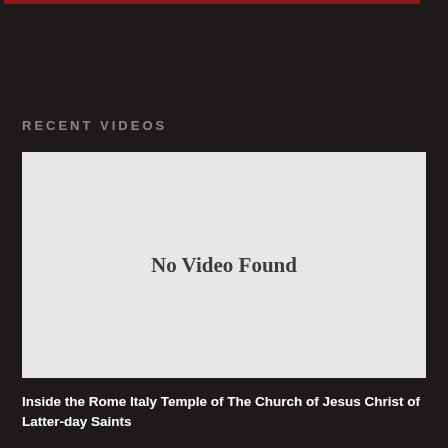[Figure (other): Red decorative bar at top of page]
RECENT VIDEOS
[Figure (other): Video placeholder box with light gray background showing 'No Video Found' message]
Inside the Rome Italy Temple of The Church of Jesus Christ of Latter-day Saints